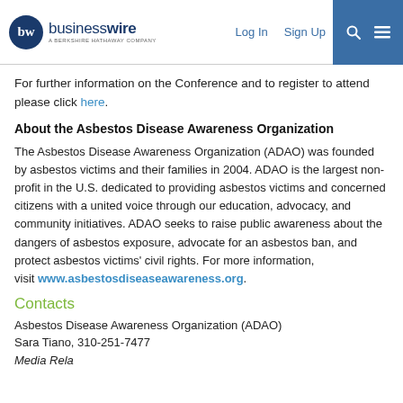businesswire — A BERKSHIRE HATHAWAY COMPANY | Log In | Sign Up
For further information on the Conference and to register to attend please click here.
About the Asbestos Disease Awareness Organization
The Asbestos Disease Awareness Organization (ADAO) was founded by asbestos victims and their families in 2004. ADAO is the largest non-profit in the U.S. dedicated to providing asbestos victims and concerned citizens with a united voice through our education, advocacy, and community initiatives. ADAO seeks to raise public awareness about the dangers of asbestos exposure, advocate for an asbestos ban, and protect asbestos victims' civil rights. For more information, visit www.asbestosdiseaseawareness.org.
Contacts
Asbestos Disease Awareness Organization (ADAO)
Sara Tiano, 310-251-7477
Media Relations